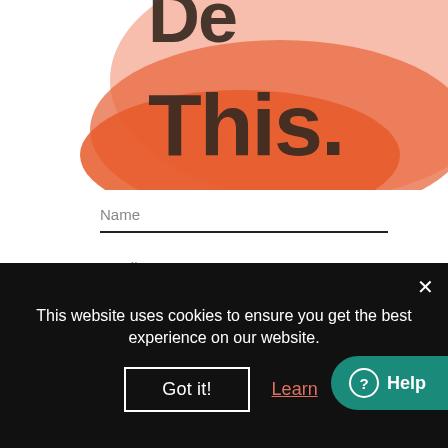[Figure (illustration): Large decorative orange/salmon blob shape with bold dark text reading 'This.' partially visible, clipped at top with additional text above]
Name
Email
Website
[Figure (other): Orange accessibility icon button (stick figure with arms out) on the left side]
This website uses cookies to ensure you get the best experience on our website.
Got it!
Learn
Help